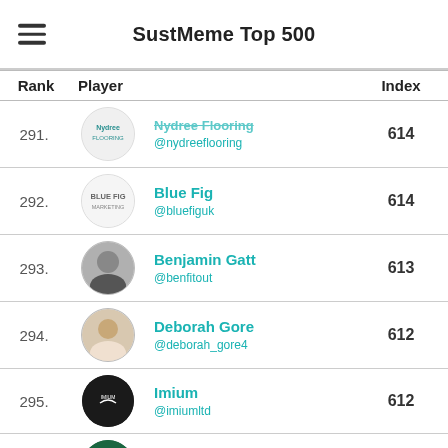SustMeme Top 500
| Rank | Player |  | Index |
| --- | --- | --- | --- |
| 291. | Nydree Flooring @nydreeflooring |  | 614 |
| 292. | Blue Fig @bluefiguk |  | 614 |
| 293. | Benjamin Gatt @benfitout |  | 613 |
| 294. | Deborah Gore @deborah_gore4 |  | 612 |
| 295. | Imium @imiumltd |  | 612 |
| 296. | Glass Partitions |  |  |